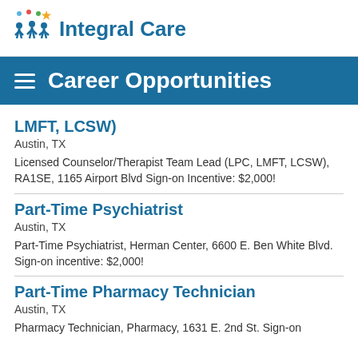[Figure (logo): Integral Care logo with stylized figures and star, blue text]
Career Opportunities
LMFT, LCSW)
Austin, TX
Licensed Counselor/Therapist Team Lead (LPC, LMFT, LCSW), RA1SE, 1165 Airport Blvd Sign-on Incentive: $2,000!
Part-Time Psychiatrist
Austin, TX
Part-Time Psychiatrist, Herman Center, 6600 E. Ben White Blvd. Sign-on incentive: $2,000!
Part-Time Pharmacy Technician
Austin, TX
Pharmacy Technician, Pharmacy, 1631 E. 2nd St. Sign-on